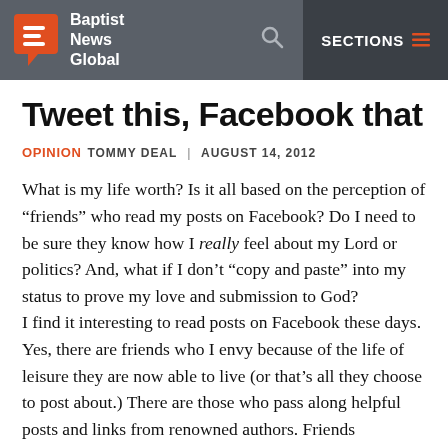Baptist News Global | SECTIONS
Tweet this, Facebook that
OPINION  TOMMY DEAL  |  AUGUST 14, 2012
What is my life worth?  Is it all based on the perception of “friends” who read my posts on Facebook?  Do I need to be sure they know how I really feel about my Lord or politics?  And, what if I don’t “copy and paste” into my status to prove my love and submission to God?
I find it interesting to read posts on Facebook these days.  Yes, there are friends who I envy because of the life of leisure they are now able to live (or that’s all they choose to post about.)  There are those who pass along helpful posts and links from renowned authors.  Friends who share about the significant life milestones occurring in their lives.